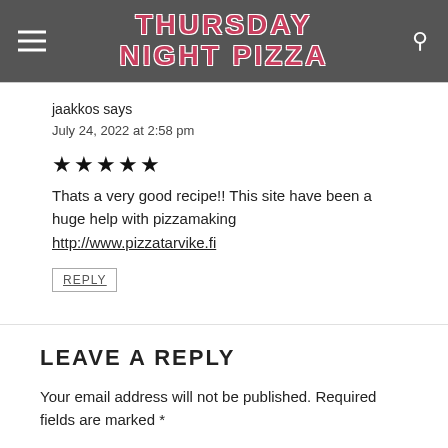THURSDAY NIGHT PIZZA
jaakkos says
July 24, 2022 at 2:58 pm
[Figure (other): Five filled star rating icons]
Thats a very good recipe!! This site have been a huge help with pizzamaking http://www.pizzatarvike.fi
REPLY
LEAVE A REPLY
Your email address will not be published. Required fields are marked *